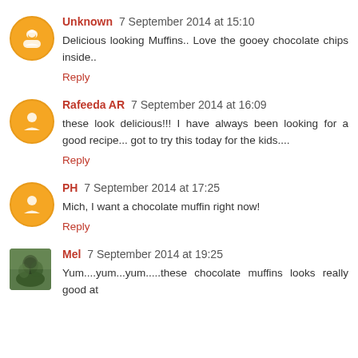Unknown 7 September 2014 at 15:10
Delicious looking Muffins.. Love the gooey chocolate chips inside..
Reply
Rafeeda AR 7 September 2014 at 16:09
these look delicious!!! I have always been looking for a good recipe... got to try this today for the kids....
Reply
PH 7 September 2014 at 17:25
Mich, I want a chocolate muffin right now!
Reply
Mel 7 September 2014 at 19:25
Yum....yum...yum.....these chocolate muffins looks really good at